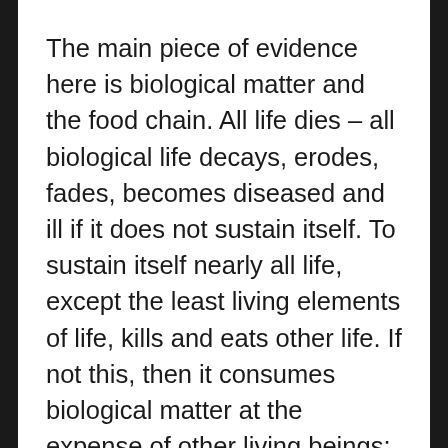The main piece of evidence here is biological matter and the food chain. All life dies – all biological life decays, erodes, fades, becomes diseased and ill if it does not sustain itself. To sustain itself nearly all life, except the least living elements of life, kills and eats other life. If not this, then it consumes biological matter at the expense of other living beings; the fight for food is also a case of living beings being required to outdo each other merely to survive.
If life was created, and not simply the result of undirected unconscious evolution (as seems sensible), this is surely the worst